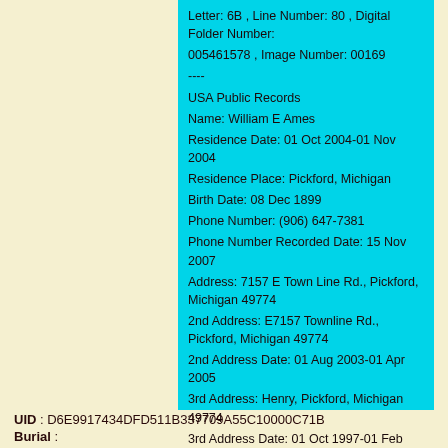Letter: 6B , Line Number: 80 , Digital Folder Number: 005461578 , Image Number: 00169
----
USA Public Records
Name: William E Ames
Residence Date: 01 Oct 2004-01 Nov 2004
Residence Place: Pickford, Michigan
Birth Date: 08 Dec 1899
Phone Number: (906) 647-7381
Phone Number Recorded Date: 15 Nov 2007
Address: 7157 E Town Line Rd., Pickford, Michigan 49774
2nd Address: E7157 Townline Rd., Pickford, Michigan 49774
2nd Address Date: 01 Aug 2003-01 Apr 2005
3rd Address: Henry, Pickford, Michigan 49774
3rd Address Date: 01 Oct 1997-01 Feb 2001
Possible Relatives: Ruth Margaret Ames
Record Number: 625109625
UID : D6E9917434DFD511B337709A55C10000C71B
Burial :
Place : United States of America - MI Michigan - Sault Sainte Marie 49783 - Oaklawn Chapel Gardens, Sault Ste. Marie, Chippewa Co.
Name : AMES